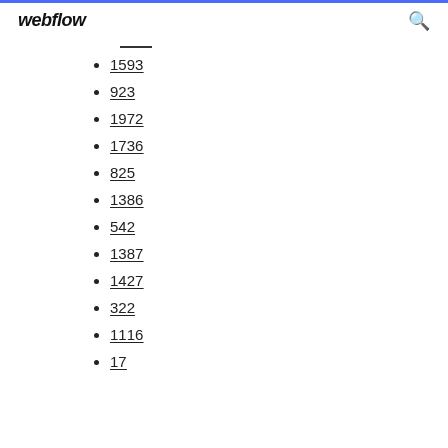webflow
1593
923
1972
1736
825
1386
542
1387
1427
322
1116
17